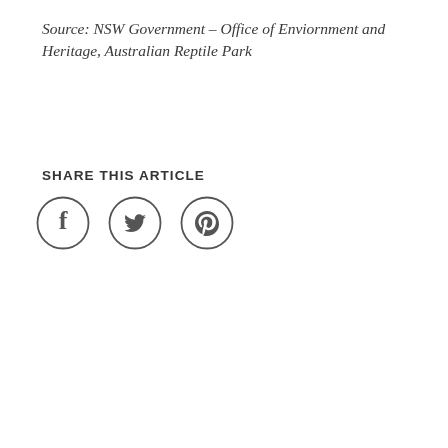Source: NSW Government – Office of Enviornment and Heritage, Australian Reptile Park
SHARE THIS ARTICLE
[Figure (other): Three social media sharing icons in circles: Facebook, Twitter, Pinterest]